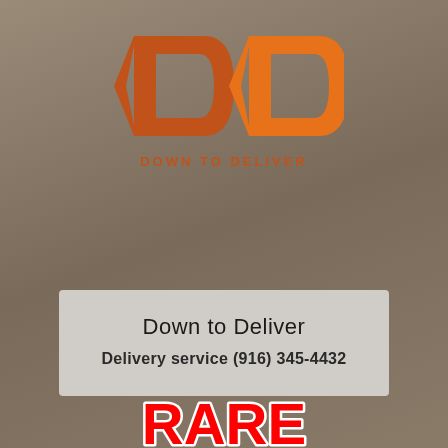[Figure (logo): DTD Down to Deliver logo — orange and dark-orange arrow-shaped D letters forming 'DTD' with 'DOWN TO DELIVER' text below in orange]
Down to Deliver
Delivery service (916) 345-4432
[Figure (logo): RARE graffiti-style logo in red and white at the bottom of the page]